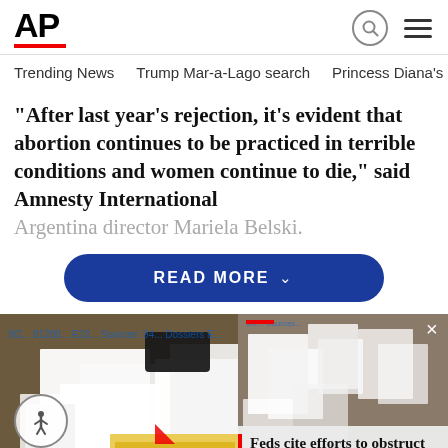AP
Trending News   Trump Mar-a-Lago search   Princess Diana's dea
"After last year's rejection, it's evident that abortion continues to be practiced in terrible conditions and women continue to die," said Amnesty International Argentina director Mariela Belski.
READ MORE
[Figure (photo): Photo showing documents, including papers labeled TOP SECRET, on a surface. An overlay news card appears in the bottom right corner with text: Feds cite efforts to obstruct probe of docs at Trump est...]
Feds cite efforts to obstruct probe of docs at Trump est...